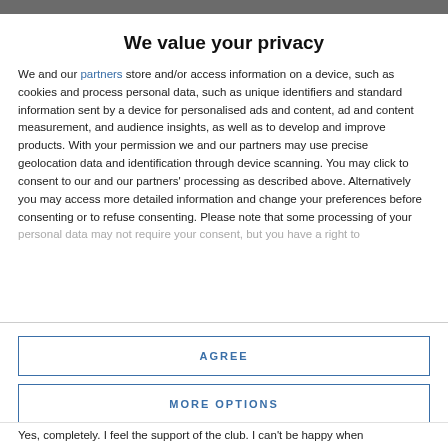We value your privacy
We and our partners store and/or access information on a device, such as cookies and process personal data, such as unique identifiers and standard information sent by a device for personalised ads and content, ad and content measurement, and audience insights, as well as to develop and improve products. With your permission we and our partners may use precise geolocation data and identification through device scanning. You may click to consent to our and our partners' processing as described above. Alternatively you may access more detailed information and change your preferences before consenting or to refuse consenting. Please note that some processing of your personal data may not require your consent, but you have a right to
AGREE
MORE OPTIONS
Yes, completely. I feel the support of the club. I can't be happy when